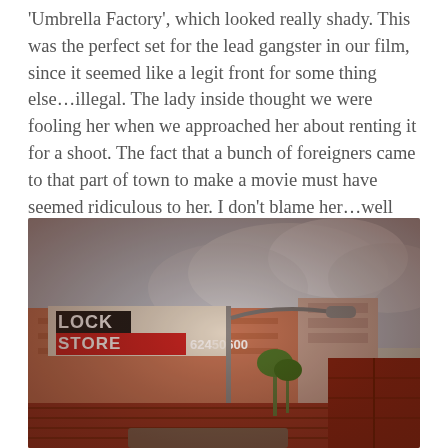'Umbrella Factory', which looked really shady. This was the perfect set for the lead gangster in our film, since it seemed like a legit front for some thing else...illegal. The lady inside thought we were fooling her when we approached her about renting it for a shoot. The fact that a bunch of foreigners came to that part of town to make a movie must have seemed ridiculous to her. I don't blame her...well not too much at least.
[Figure (photo): Street-level photograph of a building with a 'LOCK STORE 6240600' sign visible on the facade, with a street lamp in the foreground, red fencing/containers, palm trees, and other buildings in the background. The photo has a warm, vintage Instagram-style filter applied.]